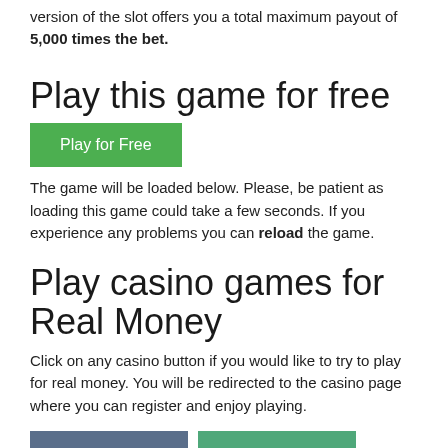version of the slot offers you a total maximum payout of 5,000 times the bet.
Play this game for free
[Figure (other): Green 'Play for Free' button]
The game will be loaded below. Please, be patient as loading this game could take a few seconds. If you experience any problems you can reload the game.
Play casino games for Real Money
Click on any casino button if you would like to try to play for real money. You will be redirected to the casino page where you can register and enjoy playing.
[Figure (other): Two casino buttons: BETFRED and Mr Green]